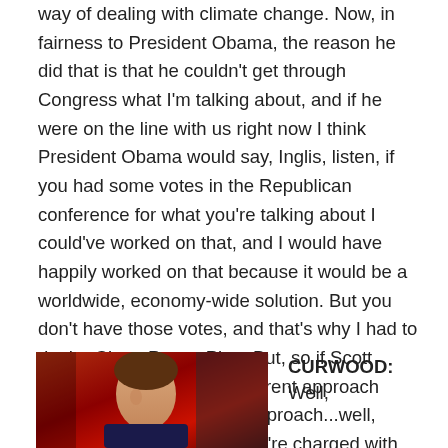way of dealing with climate change. Now, in fairness to President Obama, the reason he did that is that he couldn't get through Congress what I'm talking about, and if he were on the line with us right now I think President Obama would say, Inglis, listen, if you had some votes in the Republican conference for what you're talking about I could've worked on that, and I would have happily worked on that because it would be a worldwide, economy-wide solution. But you don't have those votes, and that's why I had to do the Clean Power Plan. But, so if Scott Pruitt is talking about a different approach that's OK, but to have no approach...well, that's really a problem if you're charged with protecting our air and water and land at the EPA.
[Figure (photo): Photo of a person, partially visible, against a red/dark background]
CURWOOD: Well,